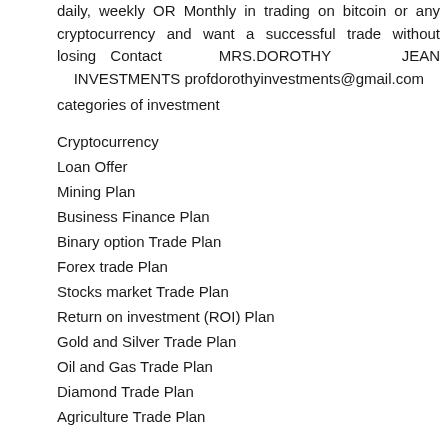daily, weekly OR Monthly in trading on bitcoin or any cryptocurrency and want a successful trade without losing Contact MRS.DOROTHY JEAN INVESTMENTS profdorothyinvestments@gmail.com
categories of investment
Cryptocurrency
Loan Offer
Mining Plan
Business Finance Plan
Binary option Trade Plan
Forex trade Plan
Stocks market Trade Plan
Return on investment (ROI) Plan
Gold and Silver Trade Plan
Oil and Gas Trade Plan
Diamond Trade Plan
Agriculture Trade Plan
Real Estate Trade Plan
YOURS IN SERVICE
Mrs. Dorothy Pilkenton Jean